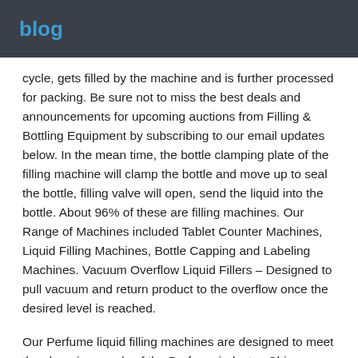blog
cycle, gets filled by the machine and is further processed for packing. Be sure not to miss the best deals and announcements for upcoming auctions from Filling & Bottling Equipment by subscribing to our email updates below. In the mean time, the bottle clamping plate of the filling machine will clamp the bottle and move up to seal the bottle, filling valve will open, send the liquid into the bottle. About 96% of these are filling machines. Our Range of Machines included Tablet Counter Machines, Liquid Filling Machines, Bottle Capping and Labeling Machines. Vacuum Overflow Liquid Fillers – Designed to pull vacuum and return product to the overflow once the desired level is reached.
Our Perfume liquid filling machines are designed to meet the changing needs of the Perfume industry. China Aluminum Foil Sealing Machine catalog of Mgf Milk Juice